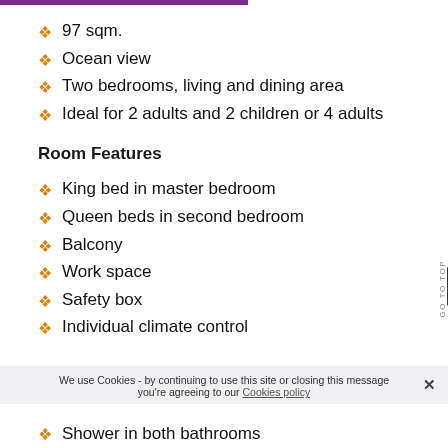97 sqm.
Ocean view
Two bedrooms, living and dining area
Ideal for 2 adults and 2 children or 4 adults
Room Features
King bed in master bedroom
Queen beds in second bedroom
Balcony
Work space
Safety box
Individual climate control
We use Cookies - by continuing to use this site or closing this message you're agreeing to our Cookies policy
Shower in both bathrooms